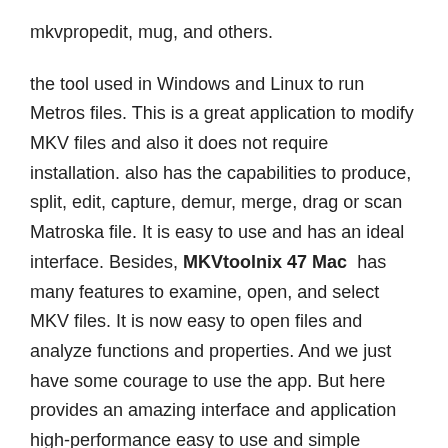mkvpropedit, mug, and others.
the tool used in Windows and Linux to run Metros files. This is a great application to modify MKV files and also it does not require installation. also has the capabilities to produce, split, edit, capture, demur, merge, drag or scan Matroska file. It is easy to use and has an ideal interface. Besides, MKVtoolnix 47 Mac has many features to examine, open, and select MKV files. It is now easy to open files and analyze functions and properties. And we just have some courage to use the app. But here provides an amazing interface and application high-performance easy to use and simple
It has an amazing interface and capabilities to work